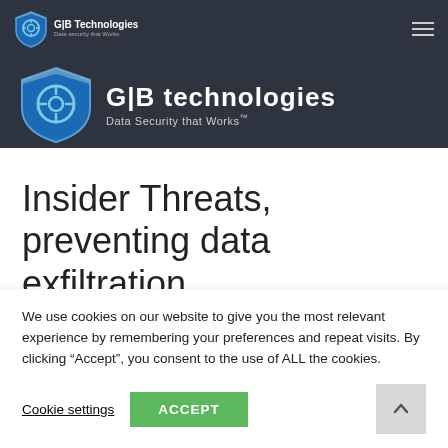[Figure (logo): GTB Technologies logo with shield icon and text 'GTB Technologies, Data Security that Works' in dark navigation bar]
Insider Threats, preventing data exfiltration
We use cookies on our website to give you the most relevant experience by remembering your preferences and repeat visits. By clicking “Accept”, you consent to the use of ALL the cookies.
Cookie settings | ACCEPT